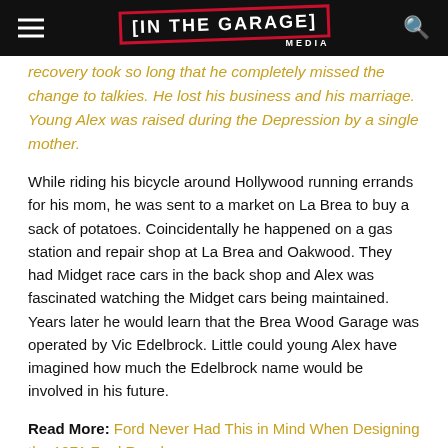[IN THE GARAGE] MEDIA
recovery took so long that he completely missed the change to talkies. He lost his business and his marriage. Young Alex was raised during the Depression by a single mother.
While riding his bicycle around Hollywood running errands for his mom, he was sent to a market on La Brea to buy a sack of potatoes. Coincidentally he happened on a gas station and repair shop at La Brea and Oakwood. They had Midget race cars in the back shop and Alex was fascinated watching the Midget cars being maintained. Years later he would learn that the Brea Wood Garage was operated by Vic Edelbrock. Little could young Alex have imagined how much the Edelbrock name would be involved in his future.
Read More: Ford Never Had This in Mind When Designing the 1971 Ford Ranchero
By the late '30s Alex had a job working in a gas station and became fascinated with the souped-up cars and hot rod roadsters (they weren't yet known as hot rods) that came by the station. He got his first car, a blue $65 1929 roadster before he even had a driver's